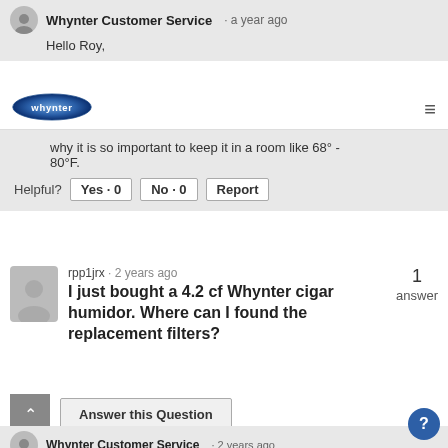Whynter Customer Service · a year ago
Hello Roy,
[Figure (logo): Whynter oval logo with blue gradient and white text]
why it is so important to keep it in a room like 68° - 80°F.
Helpful?  Yes · 0  No · 0  Report
rpp1jrx · 2 years ago
I just bought a 4.2 cf Whynter cigar humidor. Where can I found the replacement filters?
1 answer
Answer this Question
Whynter Customer Service · 2 years ago